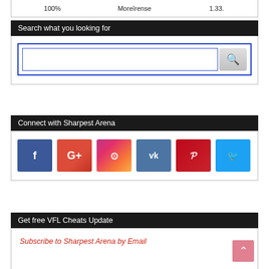| 100% | Moreīrense | 1.33. |
Search what you looking for
[Figure (screenshot): Search box widget with a text input field bordered in blue and a red magnifying glass search button]
Connect with Sharpest Arena
[Figure (infographic): Social media icon buttons: Facebook, Google+, Instagram, VK, Pinterest, Twitter]
Get free VFL Cheats Update
Subscribe to Sharpest Arena by Email